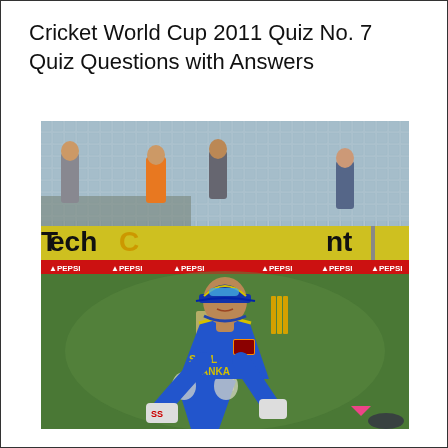Cricket World Cup 2011 Quiz No. 7
Quiz Questions with Answers
[Figure (photo): A Sri Lanka cricket player wearing blue Sri Lanka ODI uniform with cap, crouching in a fielding/wicket-keeping stance on a cricket ground. Advertising boards visible in background including 'TechC...nt' in yellow. Stadium seating visible. Red advertising panels below the main board.]